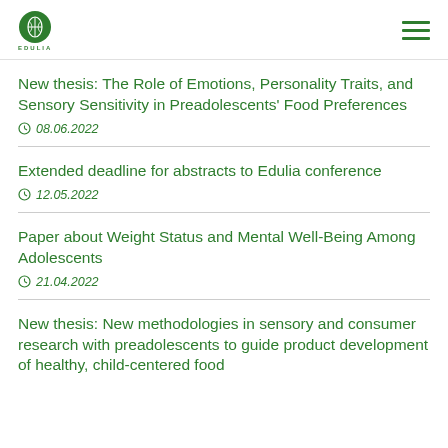EDULIA
New thesis: The Role of Emotions, Personality Traits, and Sensory Sensitivity in Preadolescents' Food Preferences
08.06.2022
Extended deadline for abstracts to Edulia conference
12.05.2022
Paper about Weight Status and Mental Well-Being Among Adolescents
21.04.2022
New thesis: New methodologies in sensory and consumer research with preadolescents to guide product development of healthy, child-centered food